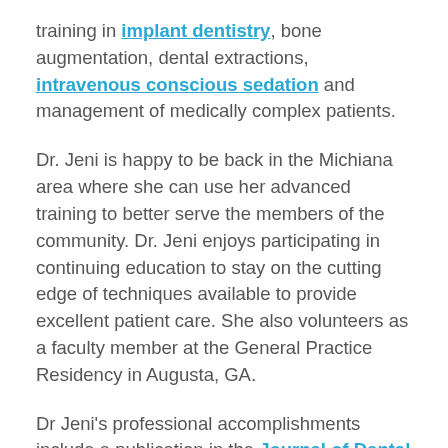training in implant dentistry, bone augmentation, dental extractions, intravenous conscious sedation and management of medically complex patients.
Dr. Jeni is happy to be back in the Michiana area where she can use her advanced training to better serve the members of the community. Dr. Jeni enjoys participating in continuing education to stay on the cutting edge of techniques available to provide excellent patient care. She also volunteers as a faculty member at the General Practice Residency in Augusta, GA.
Dr Jeni's professional accomplishments include a publication in the Journal of Dental Education, Fellowship achievement in the International Congress of Oral Implantologists